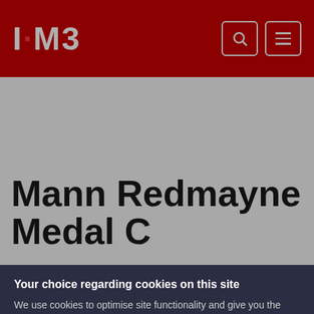I·M3
Mann Redmayne Medal C
Your choice regarding cookies on this site
We use cookies to optimise site functionality and give you the best possible experience.
I Accept Cookies | Settings | ×